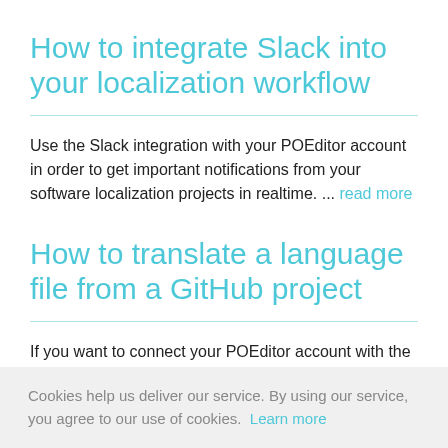How to integrate Slack into your localization workflow
Use the Slack integration with your POEditor account in order to get important notifications from your software localization projects in realtime. ... read more
How to translate a language file from a GitHub project
If you want to connect your POEditor account with the one from GitHub and import files directly from there to POEditor or
Cookies help us deliver our service. By using our service, you agree to our use of cookies. Learn more